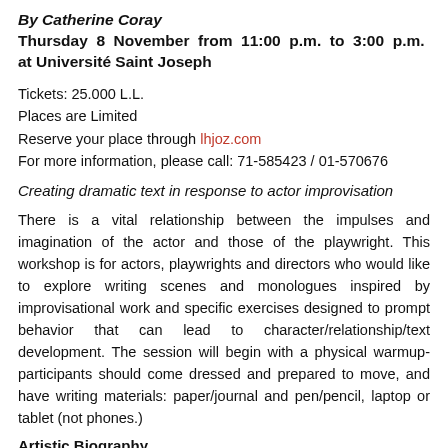By Catherine Coray
Thursday 8 November from 11:00 p.m. to 3:00 p.m. at Université Saint Joseph
Tickets: 25.000 L.L.
Places are Limited
Reserve your place through lhjoz.com
For more information, please call: 71-585423 / 01-570676
Creating dramatic text in response to actor improvisation
There is a vital relationship between the impulses and imagination of the actor and those of the playwright. This workshop is for actors, playwrights and directors who would like to explore writing scenes and monologues inspired by improvisational work and specific exercises designed to prompt behavior that can lead to character/relationship/text development. The session will begin with a physical warmup- participants should come dressed and prepared to move, and have writing materials: paper/journal and pen/pencil, laptop or tablet (not phones.)
Artistic Biography